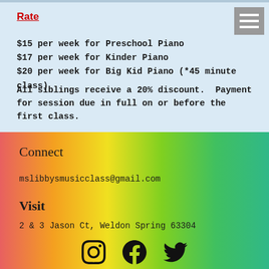Rate
$15 per week for Preschool Piano
$17 per week for Kinder Piano
$20 per week for Big Kid Piano (*45 minute class)
All siblings receive a 20% discount.  Payment for session due in full on or before the first class.
Connect
mslibbysmusicclass@gmail.com
Visit
2 & 3 Jason Ct, Weldon Spring 63304
[Figure (illustration): Social media icons: Instagram, Facebook, Twitter]